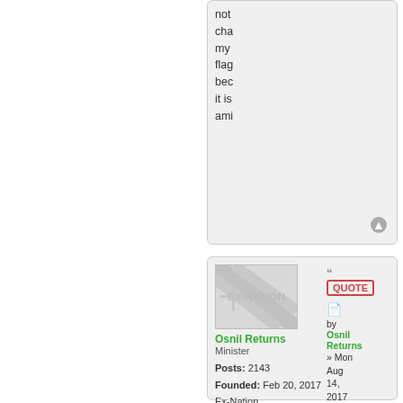not cha my flag bec it is ami
by Osnil Returns » Mon Aug 14, 2017 12:27 pm
[Figure (screenshot): Ex-Nation avatar placeholder image with diagonal gray stripes and EX-NATION text]
Osnil Returns
Minister

Posts: 2143
Founded: Feb 20, 2017
Ex-Nation